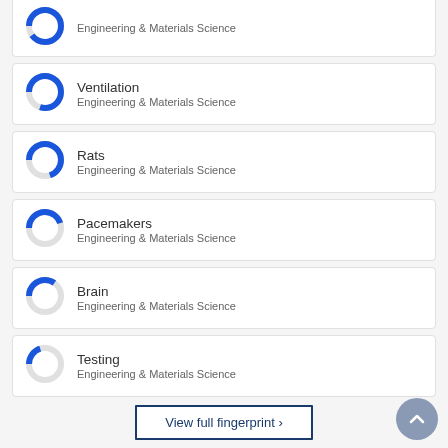[Figure (donut-chart): Donut chart showing high percentage (approx 90%) filled in blue for Engineering & Materials Science category (partial card at top)]
Engineering & Materials Science
[Figure (donut-chart): Donut chart showing approx 80% filled in blue for Ventilation]
Ventilation
Engineering & Materials Science
[Figure (donut-chart): Donut chart showing approx 70% filled in blue for Rats]
Rats
Engineering & Materials Science
[Figure (donut-chart): Donut chart showing approx 45% filled in blue for Pacemakers]
Pacemakers
Engineering & Materials Science
[Figure (donut-chart): Donut chart showing approx 35% filled in blue for Brain]
Brain
Engineering & Materials Science
[Figure (donut-chart): Donut chart showing approx 20% filled in blue for Testing]
Testing
Engineering & Materials Science
View full fingerprint >